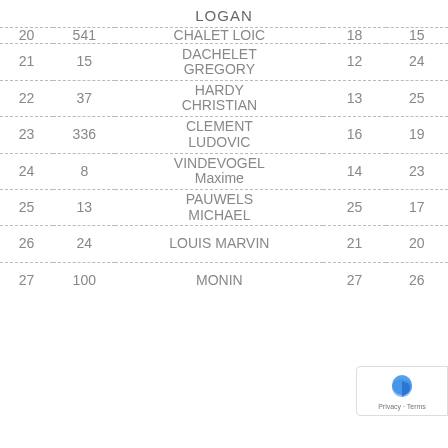LOGAN
| Rank | Num | Name | Col4 | Col5 |
| --- | --- | --- | --- | --- |
| 20 | 541 | CHALET LOIC | 18 | 15 |
| 21 | 15 | DACHELET GREGORY | 12 | 24 |
| 22 | 37 | HARDY CHRISTIAN | 13 | 25 |
| 23 | 336 | CLEMENT LUDOVIC | 16 | 19 |
| 24 | 8 | VINDEVOGEL Maxime | 14 | 23 |
| 25 | 13 | PAUWELS MICHAEL | 25 | 17 |
| 26 | 24 | LOUIS MARVIN | 21 | 20 |
| 27 | 100 | MONIN | 27 | 26 |